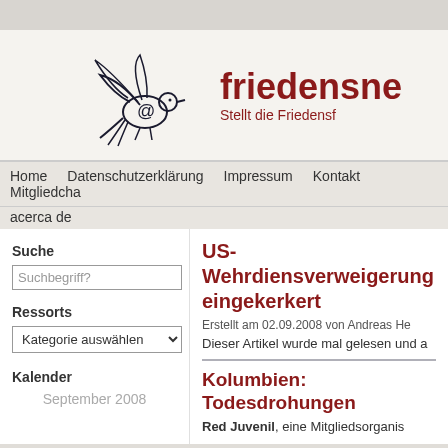[Figure (logo): Peace dove with @ symbol logo for friedensnetz website]
friedensne
Stellt die Friedensf
Home   Datenschutzerklärung   Impressum   Kontakt   Mitgliedschaft   acerca de
Suche
Suchbegriff?
Ressorts
Kategorie auswählen
Kalender
September 2008
US-Wehrdiensverweigerung eingekerkert
Erstellt am 02.09.2008 von Andreas He
Dieser Artikel wurde mal gelesen und a
Kolumbien: Todesdrohungen
Red Juvenil, eine Mitgliedsorganis